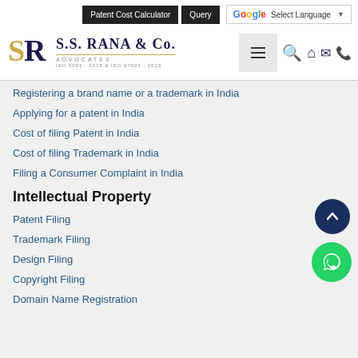[Figure (logo): S.S. Rana & Co. Advocates logo with SR monogram, ISO 9001:2015 & ISO 27001:2013 certification]
Registering a brand name or a trademark in India
Applying for a patent in India
Cost of filing Patent in India
Cost of filing Trademark in India
Filing a Consumer Complaint in India
Intellectual Property
Patent Filing
Trademark Filing
Design Filing
Copyright Filing
Domain Name Registration